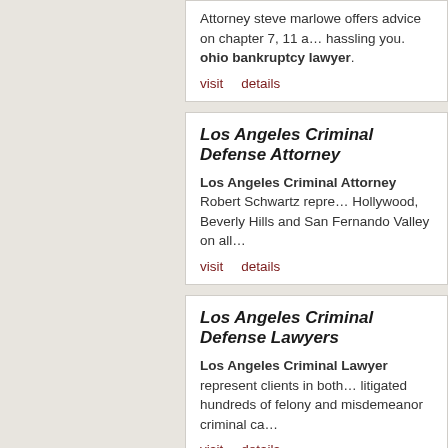Attorney steve marlowe offers advice on chapter 7, 11 a... hassling you. ohio bankruptcy lawyer.
visit   details
Los Angeles Criminal Defense Attorney
Los Angeles Criminal Attorney Robert Schwartz repre... Hollywood, Beverly Hills and San Fernando Valley on all...
visit   details
Los Angeles Criminal Defense Lawyers
Los Angeles Criminal Lawyer represent clients in both... litigated hundreds of felony and misdemeanor criminal ca...
visit   details
Dallas Bankruptcy Attorneys
The experts at Allmand and Lee focus only on bankrupt... area. With over 20 years of experience, Allmand and Lee... people during bad times. Dallas Bankruptcy Attorneys...